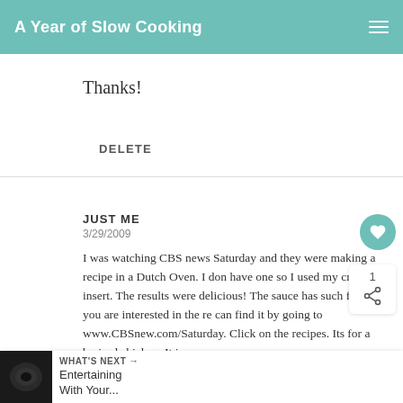A Year of Slow Cooking
Thanks!
DELETE
JUST ME
3/29/2009
I was watching CBS news Saturday and they were making a recipe in a Dutch Oven. I don have one so I used my crockpot insert. The results were delicious! The sauce has such flavor. If you are interested in the re can find it by going to www.CBSnew.com/Saturday. Click on the recipes. Its for a braised chicken. It is sooo
WHAT'S NEXT → Entertaining With Your...